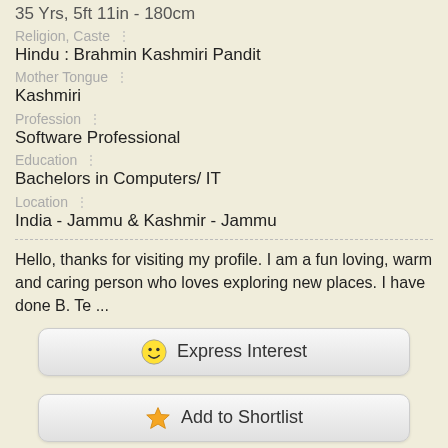35 Yrs, 5ft 11in - 180cm
Religion, Caste
Hindu : Brahmin Kashmiri Pandit
Mother Tongue
Kashmiri
Profession
Software Professional
Education
Bachelors in Computers/ IT
Location
India - Jammu & Kashmir - Jammu
Hello, thanks for visiting my profile. I am a fun loving, warm and caring person who loves exploring new places. I have done B. Te ...
Express Interest
Add to Shortlist
View Full Profile